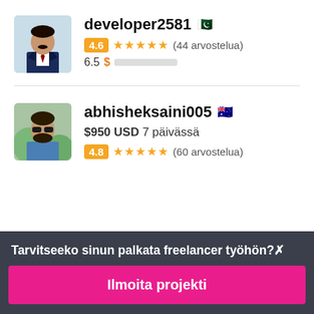[Figure (photo): Profile photo of developer2581, a man in a suit]
developer2581 🇵🇰
4.6 ★★★★★ (44 arvostelua)
6.5 $ [progress bar]
[Figure (photo): Profile photo of abhisheksaini005, a man with sunglasses outdoors]
abhisheksaini005 🇦🇺
$950 USD 7 päivässä
4.8 ★★★★★ (60 arvostelua)
Tarvitseeko sinun palkata freelancer työhön?
Ilmoita projekti